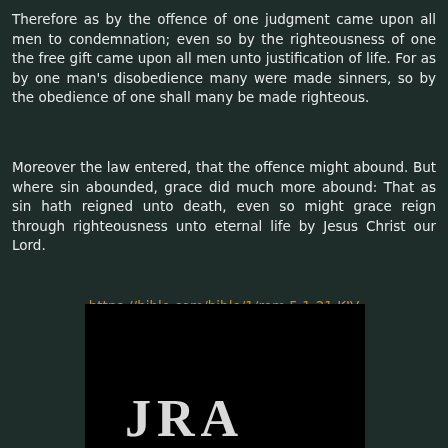Therefore as by the offence of one judgment came upon all men to condemnation; even so by the righteousness of one the free gift came upon all men unto justification of life. For as by one man's disobedience many were made sinners, so by the obedience of one shall many be made righteous.
Moreover the law entered, that the offence might abound. But where sin abounded, grace did much more abound: That as sin hath reigned unto death, even so might grace reign through righteousness unto eternal life by Jesus Christ our Lord.
https://bible.com/bible/1/rom.5.1-21.KJV
[Figure (illustration): Dark black image with partial white decorative letters visible at the bottom]